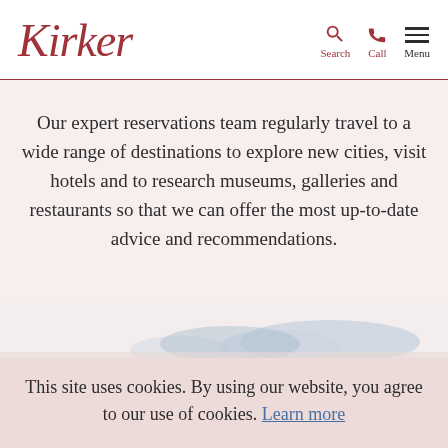Kirker — Search, Call, Menu
Our expert reservations team regularly travel to a wide range of destinations to explore new cities, visit hotels and to research museums, galleries and restaurants so that we can offer the most up-to-date advice and recommendations.
[Figure (illustration): Watercolour landscape illustration of mountains/hills in soft blue-grey tones]
This site uses cookies. By using our website, you agree to our use of cookies. Learn more
I accept